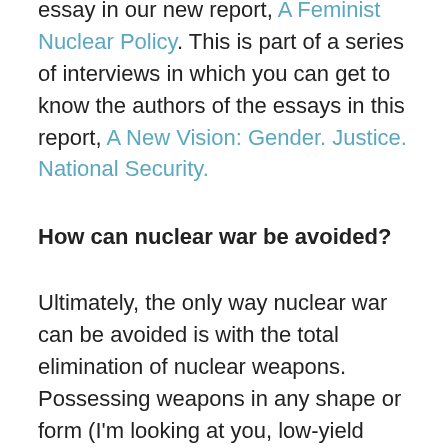essay in our new report, A Feminist Nuclear Policy. This is part of a series of interviews in which you can get to know the authors of the essays in this report, A New Vision: Gender. Justice. National Security.
How can nuclear war be avoided?
Ultimately, the only way nuclear war can be avoided is with the total elimination of nuclear weapons. Possessing weapons in any shape or form (I'm looking at you, low-yield nuclear weapons) will always present a risk.
What inspires you to continue this work?